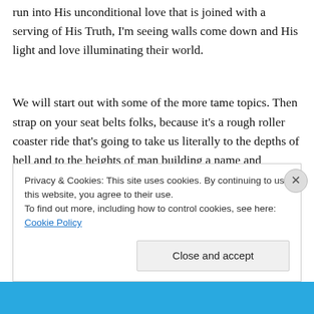run into His unconditional love that is joined with a serving of His Truth, I'm seeing walls come down and His light and love illuminating their world.
We will start out with some of the more tame topics. Then strap on your seat belts folks, because it's a rough roller coaster ride that's going to take us literally to the depths of hell and to the heights of man building a name and
Privacy & Cookies: This site uses cookies. By continuing to use this website, you agree to their use.
To find out more, including how to control cookies, see here: Cookie Policy